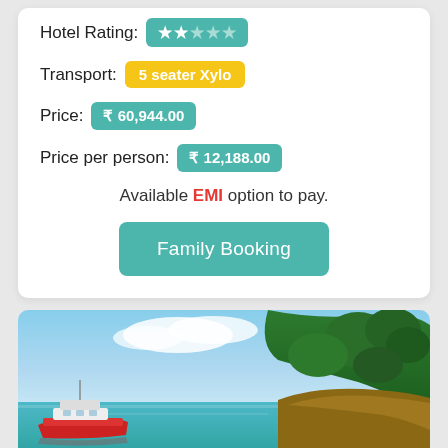Hotel Rating: ★★☆☆☆
Transport: 5 seater Xylo
Price: ₹ 60,944.00
Price per person: ₹ 12,188.00
Available EMI option to pay.
Family Booking
[Figure (photo): Tropical coastal scene with a red boat on turquoise water and a lush green tree-covered hillside under a blue sky with clouds.]